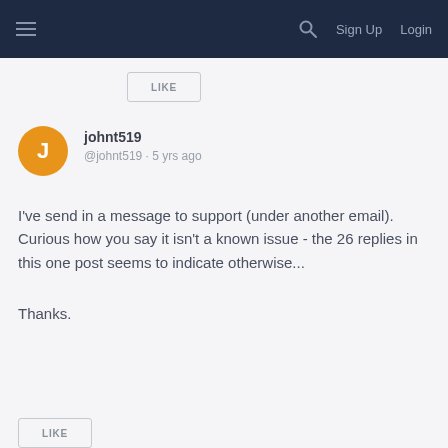≡   Sign Up   Login
[Figure (screenshot): LIKE button at top of comment section]
johnt519
@johnt519 · 5 yrs ago
I've send in a message to support (under another email). Curious how you say it isn't a known issue - the 26 replies in this one post seems to indicate otherwise...
Thanks.
[Figure (screenshot): LIKE button at bottom of comment]